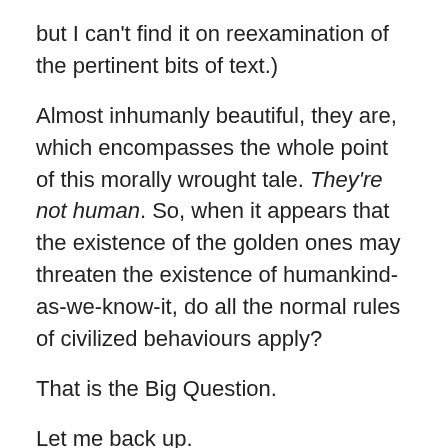but I can't find it on reexamination of the pertinent bits of text.)
Almost inhumanly beautiful, they are, which encompasses the whole point of this morally wrought tale. They're not human. So, when it appears that the existence of the golden ones may threaten the existence of humankind-as-we-know-it, do all the normal rules of civilized behaviours apply?
That is the Big Question.
Let me back up.
Here's the story.
Strange events in the peaceful English village of Midwich!
Within a defined circle of countryside, with Midwich